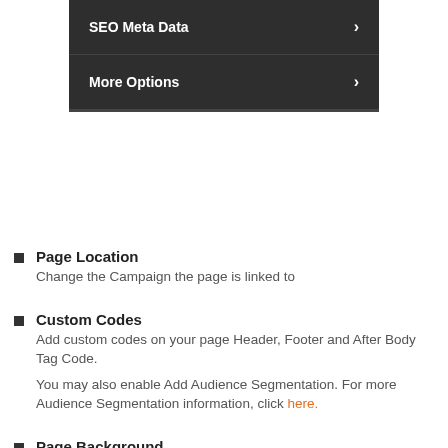[Figure (screenshot): Dark UI panel showing two menu items: 'SEO Meta Data' and 'More Options', each with a right-pointing chevron arrow on a dark background.]
Page Location — Change the Campaign the page is linked to
Custom Codes — Add custom codes on your page Header, Footer and After Body Tag Code. You may also enable Add Audience Segmentation. For more Audience Segmentation information, click here.
Page Background — Adjust your page's background settings.